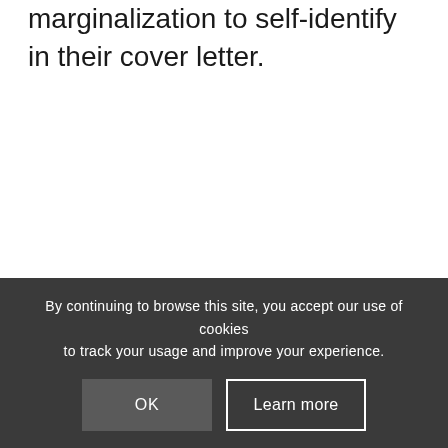marginalization to self-identify in their cover letter.
By continuing to browse this site, you accept our use of cookies to track your usage and improve your experience.
OK
Learn more